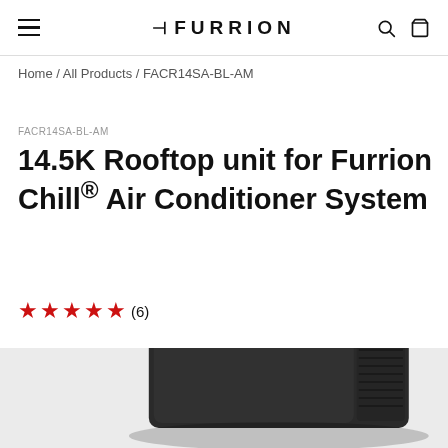FURRION
Home / All Products / FACR14SA-BL-AM
FACR14SA-BL-AM
14.5K Rooftop unit for Furrion Chill® Air Conditioner System
★★★★★ (6)
[Figure (photo): Dark charcoal/black rooftop air conditioning unit, boxy shape with ventilation grille on the right side, shown on a light gray background]